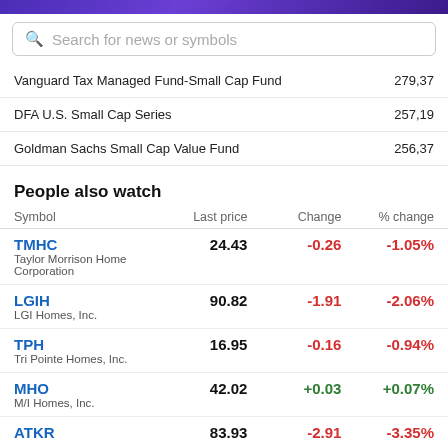Search for news or symbols
| Fund Name | Value |
| --- | --- |
| Vanguard Tax Managed Fund-Small Cap Fund | 279,37 |
| DFA U.S. Small Cap Series | 257,19 |
| Goldman Sachs Small Cap Value Fund | 256,37 |
People also watch
| Symbol | Last price | Change | % change |
| --- | --- | --- | --- |
| TMHC
Taylor Morrison Home Corporation | 24.43 | -0.26 | -1.05% |
| LGIH
LGI Homes, Inc. | 90.82 | -1.91 | -2.06% |
| TPH
Tri Pointe Homes, Inc. | 16.95 | -0.16 | -0.94% |
| MHO
M/I Homes, Inc. | 42.02 | +0.03 | +0.07% |
| ATKR | 83.93 | -2.91 | -3.35% |